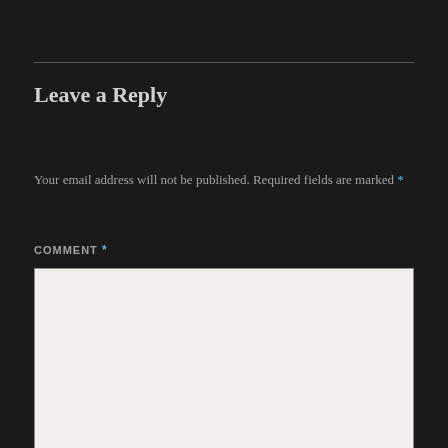Leave a Reply
Your email address will not be published. Required fields are marked *
COMMENT *
[Figure (other): Empty comment text area input box with light background]